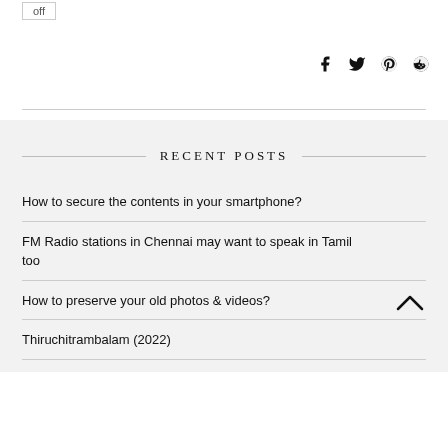off
RECENT POSTS
How to secure the contents in your smartphone?
FM Radio stations in Chennai may want to speak in Tamil too
How to preserve your old photos & videos?
Thiruchitrambalam (2022)